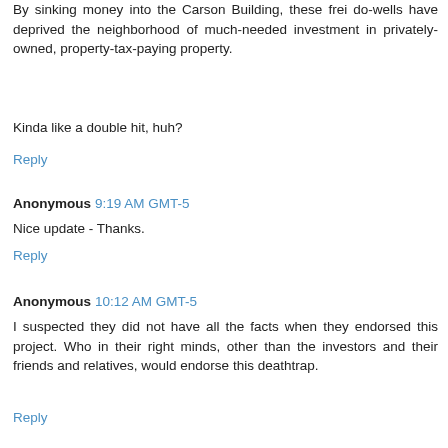By sinking money into the Carson Building, these frei do-wells have deprived the neighborhood of much-needed investment in privately-owned, property-tax-paying property.
Kinda like a double hit, huh?
Reply
Anonymous  9:19 AM GMT-5
Nice update - Thanks.
Reply
Anonymous  10:12 AM GMT-5
I suspected they did not have all the facts when they endorsed this project. Who in their right minds, other than the investors and their friends and relatives, would endorse this deathtrap.
Reply